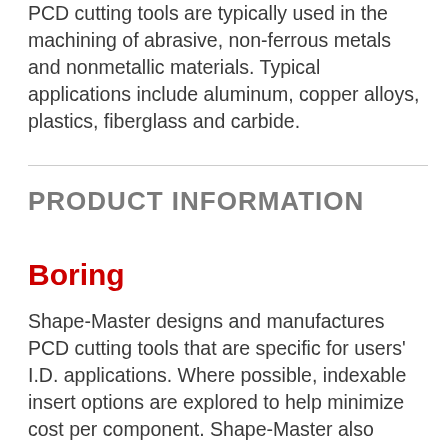PCD cutting tools are typically used in the machining of abrasive, non-ferrous metals and nonmetallic materials. Typical applications include aluminum, copper alloys, plastics, fiberglass and carbide.
PRODUCT INFORMATION
Boring
Shape-Master designs and manufactures PCD cutting tools that are specific for users' I.D. applications. Where possible, indexable insert options are explored to help minimize cost per component. Shape-Master also produces indexable PCD inserts with various shapes...